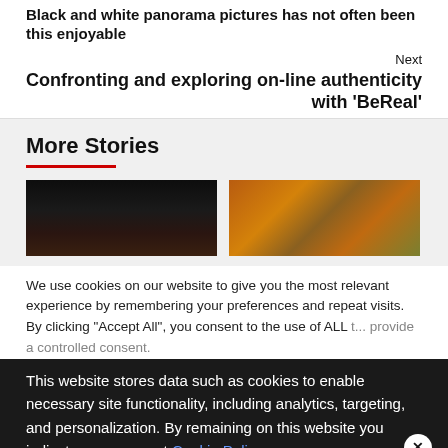Black and white panorama pictures has not often been this enjoyable
Next
Confronting and exploring on-line authenticity with 'BeReal'
More Stories
[Figure (photo): Dark screenshot or photo with blurred figures]
[Figure (photo): Autumn foliage with orange and yellow colors]
We use cookies on our website to give you the most relevant experience by remembering your preferences and repeat visits. By clicking "Accept All", you consent to the use of ALL t... provide a controlled consent.
This website stores data such as cookies to enable necessary site functionality, including analytics, targeting, and personalization. By remaining on this website you indicate your consent Cookie Policy